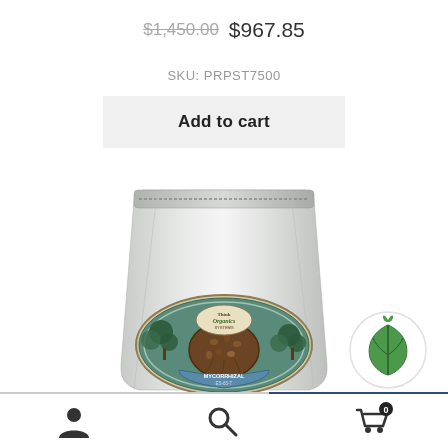$1,450.00  $967.85
SKU: PRPST7500
Add to cart
[Figure (photo): A silver resealable pouch bag of Think Organics Mycorrhizal product (ES-65-T) with a colorful oval label showing garden/plant imagery]
[Figure (logo): Green circular eco/leaf badge icon]
[Figure (other): Bottom navigation bar with user account icon, search icon, and shopping cart icon with badge showing 0]